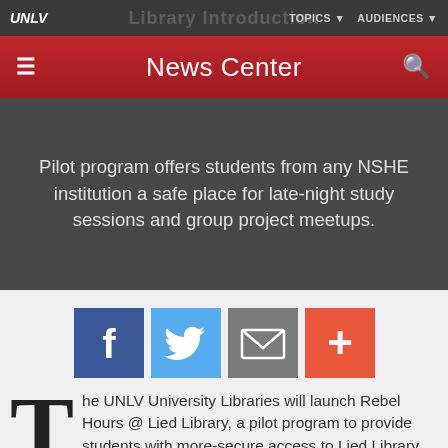UNLV  TOPICS  AUDIENCES
News Center
Pilot program offers students from any NSHE institution a safe place for late-night study sessions and group project meetups.
[Figure (infographic): Four social sharing buttons: Facebook (blue), Twitter (light blue), Email (gray), Google+ (orange-red)]
The UNLV University Libraries will launch Rebel Hours @ Lied Library, a pilot program to provide students with more-secure access to Lied Library